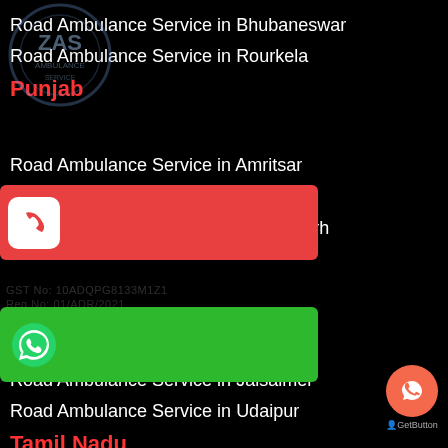Road Ambulance Service in Bhubaneswar
Road Ambulance Service in Rourkela
Punjab
Road Ambulance Service in Amritsar
Road Ambulance Service in Ludhiana
Road Ambulance Service in Chandigarh
Road Ambulance Service in Jaipur
Road Ambulance Service in Jodhpur
Road Ambulance Service in Jaisalmer
Road Ambulance Service in Udaipur
Tamil Nadu
Road Ambulance Service in Chennai
Road Ambulance Service in Coimbatore
Road Ambulance Service in Madurai
Road Ambulance Service in Tuticorin
Tripura
Road Ambulance Service in Agartola